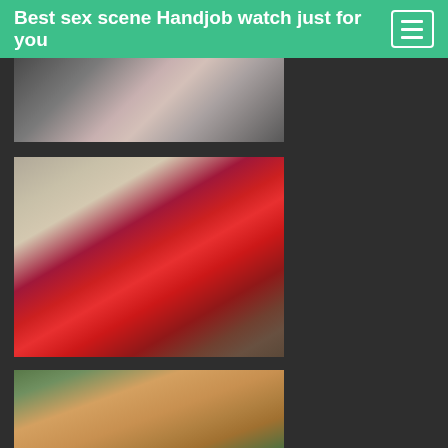Best sex scene Handjob watch just for you
[Figure (photo): Partial view of a person in pink/nude underwear with lace details, cropped torso shot]
[Figure (photo): Woman in red lingerie and red stockings with suspenders, bending forward in a hotel room setting]
[Figure (photo): Person restrained outdoors, back view, oiled skin]